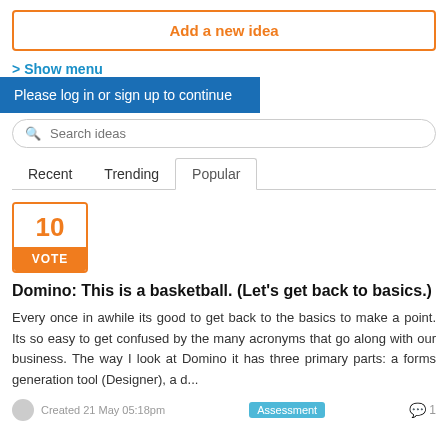Add a new idea
> Show menu
Please log in or sign up to continue
Search ideas
Recent   Trending   Popular
10 VOTE
Domino: This is a basketball. (Let's get back to basics.)
Every once in awhile its good to get back to the basics to make a point. Its so easy to get confused by the many acronyms that go along with our business. The way I look at Domino it has three primary parts: a forms generation tool (Designer), a d...
Created 21 May 05:18pm
Assessment
1